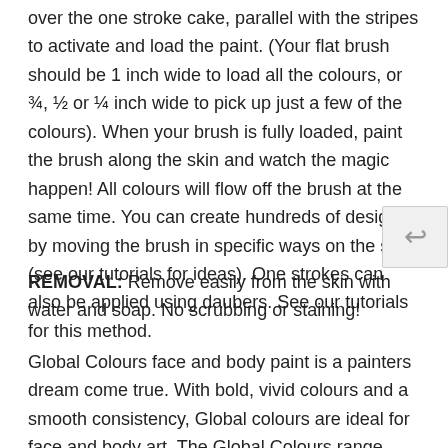over the one stroke cake, parallel with the stripes to activate and load the paint. (Your flat brush should be 1 inch wide to load all the colours, or ¾, ½ or ¼ inch wide to pick up just a few of the colours). When your brush is fully loaded, paint the brush along the skin and watch the magic happen! All colours will flow off the brush at the same time. You can create hundreds of designs by moving the brush in specific ways on the skin (see our tutorials for ideas). One strokes can also be applied using daubers. See our tutorials for this method.
REMOVAL: Remove easily from the skin with water and soap. No scrubbing or staining!
Global Colours face and body paint is a painters dream come true. With bold, vivid colours and a smooth consistency, Global colours are ideal for face and body art. The Global Colours range contains 50 vibrant shades